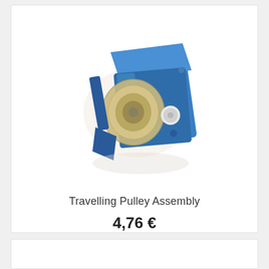[Figure (photo): A blue anodized aluminium travelling pulley assembly with a metallic wheel/sheave visible through the side plates, photographed on a white background.]
Travelling Pulley Assembly
4,76 €
Add to cart
More